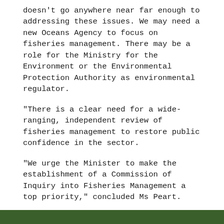doesn't go anywhere near far enough to addressing these issues. We may need a new Oceans Agency to focus on fisheries management. There may be a role for the Ministry for the Environment or the Environmental Protection Authority as environmental regulator.
“There is a clear need for a wide-ranging, independent review of fisheries management to restore public confidence in the sector.
“We urge the Minister to make the establishment of a Commission of Inquiry into Fisheries Management a top priority,” concluded Ms Peart.
[Figure (other): Green rounded rectangle button with bold text: Download full statement]